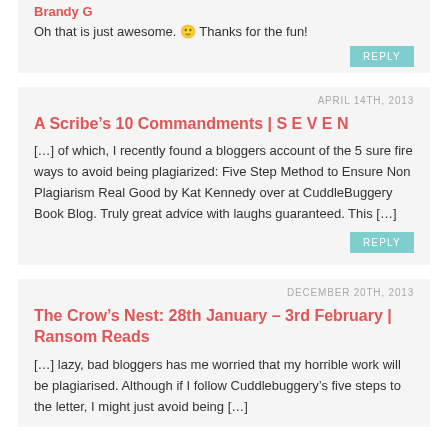Brandy G
Oh that is just awesome. 🙂  Thanks for the fun!
REPLY
APRIL 14TH, 2013
A Scribe's 10 Commandments | S E V E N
[…] of which, I recently found a bloggers account of the 5 sure fire ways to avoid being plagiarized: Five Step Method to Ensure Non Plagiarism Real Good by Kat Kennedy over at CuddleBuggery Book Blog. Truly great advice with laughs guaranteed. This […]
REPLY
DECEMBER 20TH, 2013
The Crow's Nest: 28th January – 3rd February | Ransom Reads
[…] lazy, bad bloggers has me worried that my horrible work will be plagiarised. Although if I follow Cuddlebuggery's five steps to the letter, I might just avoid being […]